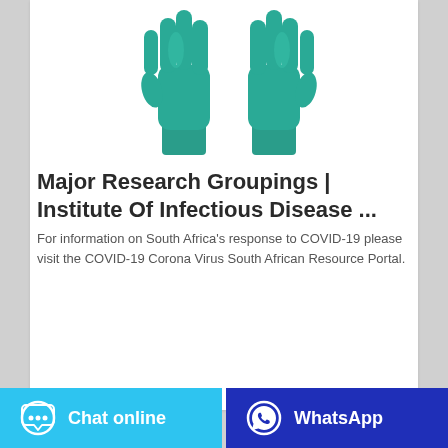[Figure (photo): Pair of teal/turquoise medical rubber gloves against white background]
Major Research Groupings | Institute Of Infectious Disease ...
For information on South Africa's response to COVID-19 please visit the COVID-19 Corona Virus South African Resource Portal.
[Figure (infographic): Bottom button bar: 'Chat online' button (light blue) with chat bubble icon and 'WhatsApp' button (dark blue) with WhatsApp icon]